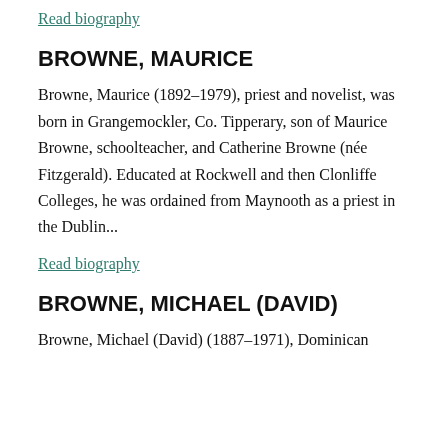Read biography
BROWNE, MAURICE
Browne, Maurice (1892–1979), priest and novelist, was born in Grangemockler, Co. Tipperary, son of Maurice Browne, schoolteacher, and Catherine Browne (née Fitzgerald). Educated at Rockwell and then Clonliffe Colleges, he was ordained from Maynooth as a priest in the Dublin...
Read biography
BROWNE, MICHAEL (DAVID)
Browne, Michael (David) (1887–1971), Dominican